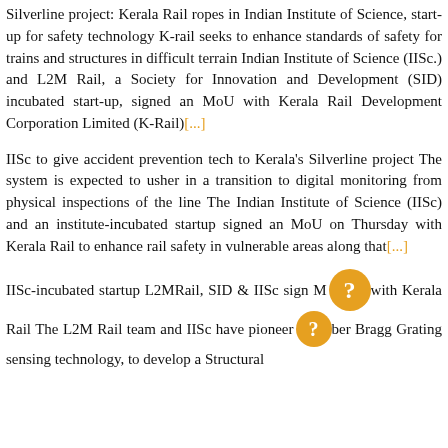Silverline project: Kerala Rail ropes in Indian Institute of Science, start-up for safety technology K-rail seeks to enhance standards of safety for trains and structures in difficult terrain Indian Institute of Science (IISc.) and L2M Rail, a Society for Innovation and Development (SID) incubated start-up, signed an MoU with Kerala Rail Development Corporation Limited (K-Rail)[...]
IISc to give accident prevention tech to Kerala's Silverline project The system is expected to usher in a transition to digital monitoring from physical inspections of the line The Indian Institute of Science (IISc) and an institute-incubated startup signed an MoU on Thursday with Kerala Rail to enhance rail safety in vulnerable areas along that[...]
IISc-incubated startup L2MRail, SID & IISc sign MoU with Kerala Rail The L2M Rail team and IISc have pioneered Fiber Bragg Grating sensing technology, to develop a Structural[...]